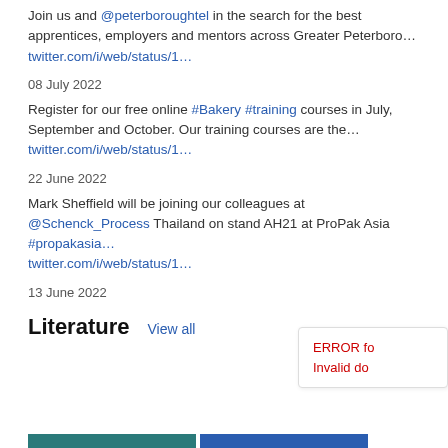Join us and @peterboroughtel in the search for the best apprentices, employers and mentors across Greater Peterboro… twitter.com/i/web/status/1…
08 July 2022
Register for our free online #Bakery #training courses in July, September and October. Our training courses are the… twitter.com/i/web/status/1…
22 June 2022
Mark Sheffield will be joining our colleagues at @Schenck_Process Thailand on stand AH21 at ProPak Asia #propakasia… twitter.com/i/web/status/1…
13 June 2022
Literature
View all